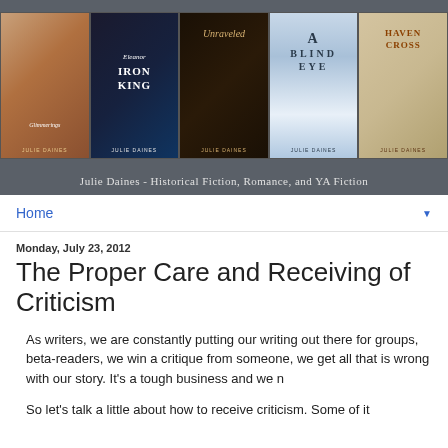[Figure (illustration): Blog header banner showing five book covers by Julie Daines side by side, with subtitle 'Julie Daines - Historical Fiction, Romance, and YA Fiction' on a dark background]
Home
Monday, July 23, 2012
The Proper Care and Receiving of Criticism
As writers, we are constantly putting our writing out there for groups, beta-readers, we win a critique from someone, we get all that is wrong with our story. It's a tough business and we n
So let's talk a little about how to receive criticism. Some of it